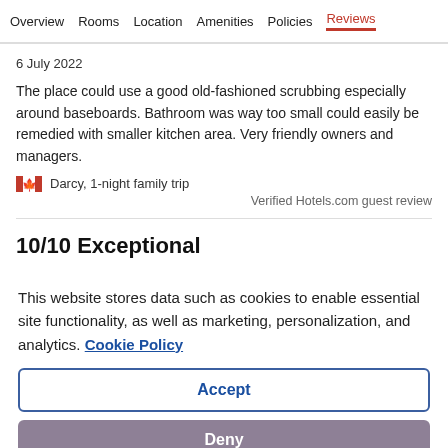Overview  Rooms  Location  Amenities  Policies  Reviews
6 July 2022
The place could use a good old-fashioned scrubbing especially around baseboards. Bathroom was way too small could easily be remedied with smaller kitchen area. Very friendly owners and managers.
Darcy, 1-night family trip
Verified Hotels.com guest review
10/10 Exceptional
This website stores data such as cookies to enable essential site functionality, as well as marketing, personalization, and analytics. Cookie Policy
Accept
Deny